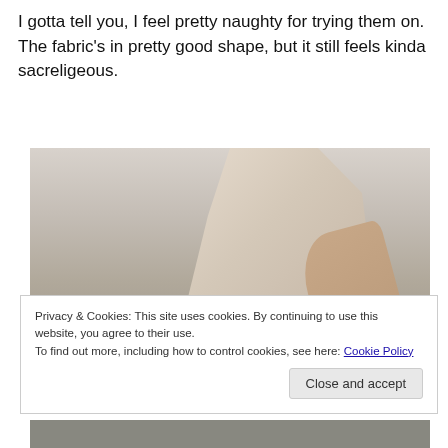I gotta tell you, I feel pretty naughty for trying them on. The fabric's in pretty good shape, but it still feels kinda sacreligeous.
[Figure (photo): A person wearing a white sleeveless top/dress, photographed from the side/back, with a light-colored wall or curtain background.]
Privacy & Cookies: This site uses cookies. By continuing to use this website, you agree to their use.
To find out more, including how to control cookies, see here: Cookie Policy
Close and accept